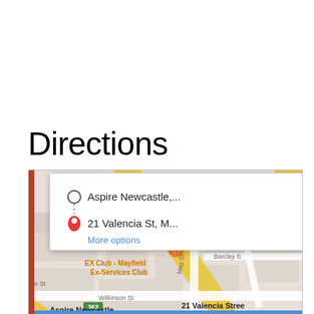Directions
[Figure (map): Google Maps screenshot showing directions interface with popup card showing 'Aspire Newcastle,...' as origin and '21 Valencia St, M...' as destination with 'More options' link. Map shows Mayfield area streets including Rawson St, May St, Wilkinson St, Barclay St, with EX Club - Mayfield Ex-Services Club, ALDI, Sultan Fatih Mc, Stag & Hunter Hotel visible. 21 Valencia Street and Aspire Newcastle labels shown on map.]